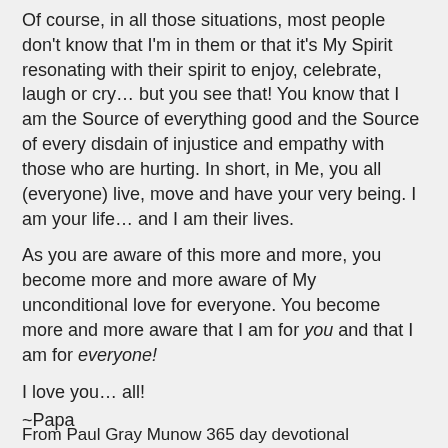Of course, in all those situations, most people don't know that I'm in them or that it's My Spirit resonating with their spirit to enjoy, celebrate, laugh or cry… but you see that! You know that I am the Source of everything good and the Source of every disdain of injustice and empathy with those who are hurting. In short, in Me, you all (everyone) live, move and have your very being. I am your life… and I am their lives.
As you are aware of this more and more, you become more and more aware of My unconditional love for everyone. You become more and more aware that I am for you and that I am for everyone!
I love you… all!
~Papa
From Paul Gray Munow 365 day devotional